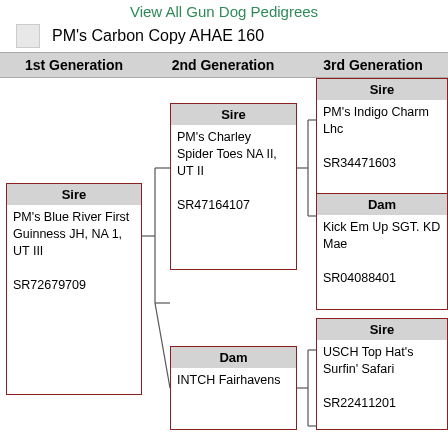View All Gun Dog Pedigrees
PM's Carbon Copy AHAE 160
| 1st Generation | 2nd Generation | 3rd Generation |
| --- | --- | --- |
| PM's Blue River First Guinness JH, NA 1, UT III SR72679709 | PM's Charley Spider Toes NA II, UT II SR47164107 | PM's Indigo Charm Lhc SR34471603 |
|  |  | Kick Em Up SGT. KD Mae SR04088401 |
|  | INTCH Fairhavens | USCH Top Hat's Surfin' Safari SR22411201 |